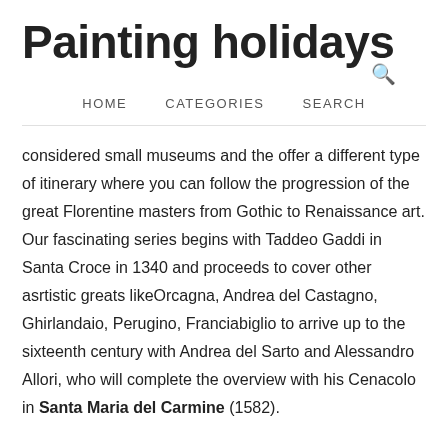Painting holidays
HOME   CATEGORIES   SEARCH
considered small museums and the offer a different type of itinerary where you can follow the progression of the great Florentine masters from Gothic to Renaissance art. Our fascinating series begins with Taddeo Gaddi in Santa Croce in 1340 and proceeds to cover other asrtistic greats likeOrcagna, Andrea del Castagno, Ghirlandaio, Perugino, Franciabiglio to arrive up to the sixteenth century with Andrea del Sarto and Alessandro Allori, who will complete the overview with his Cenacolo in Santa Maria del Carmine (1582).